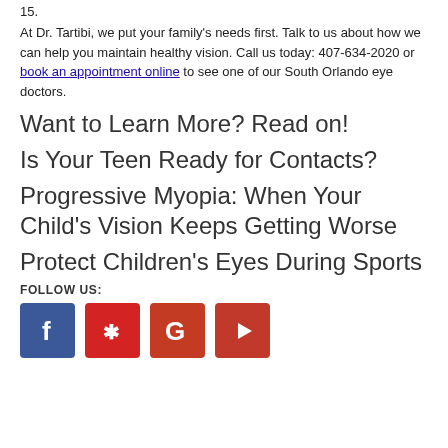15.
At Dr. Tartibi, we put your family's needs first. Talk to us about how we can help you maintain healthy vision. Call us today: 407-634-2020 or book an appointment online to see one of our South Orlando eye doctors.
Want to Learn More? Read on!
Is Your Teen Ready for Contacts?
Progressive Myopia: When Your Child's Vision Keeps Getting Worse
Protect Children's Eyes During Sports
FOLLOW US:
[Figure (other): Social media icons: Facebook, Yelp, Google, YouTube]